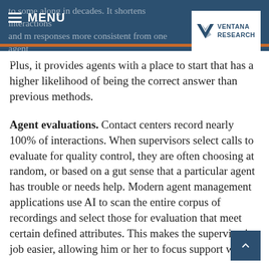MENU | VENTANA RESEARCH
Plus, it provides agents with a place to start that has a higher likelihood of being the correct answer than previous methods.
Agent evaluations. Contact centers record nearly 100% of interactions. When supervisors select calls to evaluate for quality control, they are often choosing at random, or based on a gut sense that a particular agent has trouble or needs help. Modern agent management applications use AI to scan the entire corpus of recordings and select those for evaluation that meet certain defined attributes. This makes the supervisor's job easier, allowing him or her to focus support where